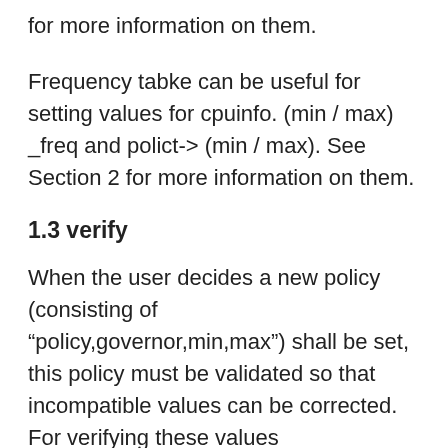for more information on them.
Frequency tabke can be useful for setting values for cpuinfo. (min / max) _freq and polict-> (min / max). See Section 2 for more information on them.
1.3 verify
When the user decides a new policy (consisting of “policy,governor,min,max”) shall be set, this policy must be validated so that incompatible values can be corrected. For verifying these values
cpufreq_verify_within_limits(struct